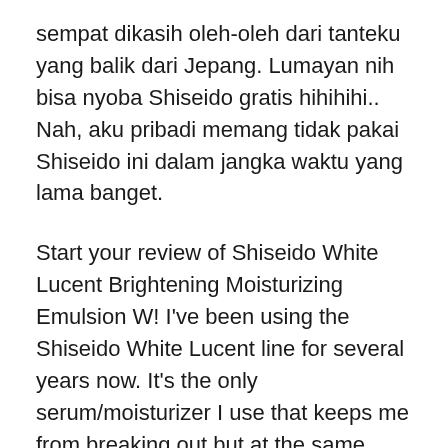sempat dikasih oleh-oleh dari tanteku yang balik dari Jepang. Lumayan nih bisa nyoba Shiseido gratis hihihihi.. Nah, aku pribadi memang tidak pakai Shiseido ini dalam jangka waktu yang lama banget.
Start your review of Shiseido White Lucent Brightening Moisturizing Emulsion W! I've been using the Shiseido White Lucent line for several years now. It's the only serum/moisturizer I use that keeps me from breaking out but at the same time keeps my face dewy in the winter time. Shiseido White Lucent Brightening Protective Emulsion W. Jun 01, 2013В В· Skincare Review : Shiseido White Lucent Range . White lucent Protective Emulsion SPF 15 вЂ" Rs.3400. Brightening Protective...